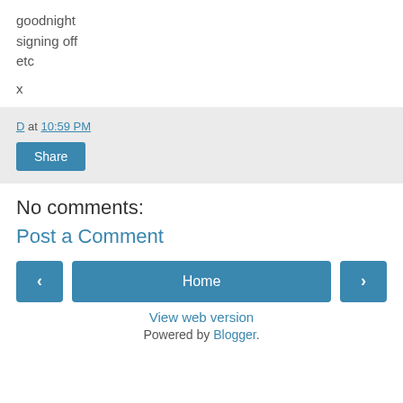goodnight
signing off
etc
x
D at 10:59 PM
Share
No comments:
Post a Comment
‹
Home
›
View web version
Powered by Blogger.